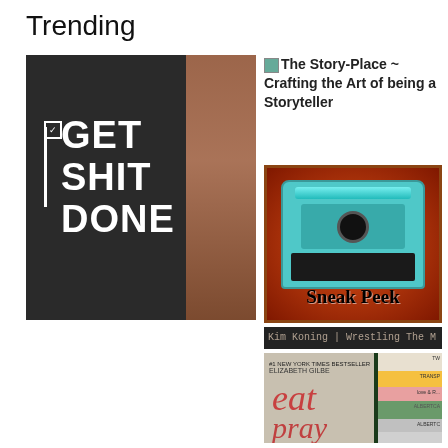Trending
[Figure (photo): Black mug held by a hand with text GET SHIT DONE in white letters]
[Figure (screenshot): Small broken image icon followed by text: The Story-Place ~ Crafting the Art of being a Storyteller]
[Figure (photo): Typewriter image with 'Sneak Peek' text overlay on orange/red background]
Kim Koning | Wrestling The M
[Figure (photo): Book cover showing Elizabeth Gilbert - eat pray with stacked books on right side including ALBERTC and ALBERTC labels]